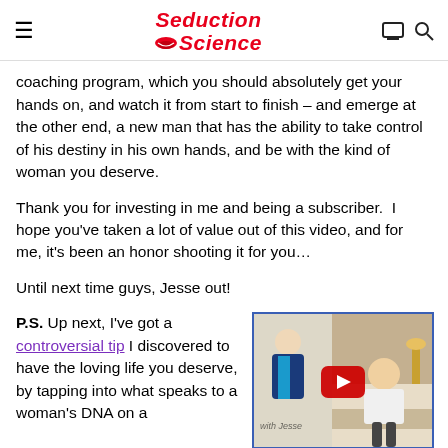Seduction Science
coaching program, which you should absolutely get your hands on, and watch it from start to finish – and emerge at the other end, a new man that has the ability to take control of his destiny in his own hands, and be with the kind of woman you deserve.
Thank you for investing in me and being a subscriber. I hope you've taken a lot of value out of this video, and for me, it's been an honor shooting it for you…
Until next time guys, Jesse out!
P.S. Up next, I've got a controversial tip I discovered to have the loving life you deserve, by tapping into what speaks to a woman's DNA on a genetic level… and this works every single time. Click here
[Figure (screenshot): Video thumbnail showing a man in a blazer gesturing and a woman sitting on a bed, with a YouTube play button overlay]